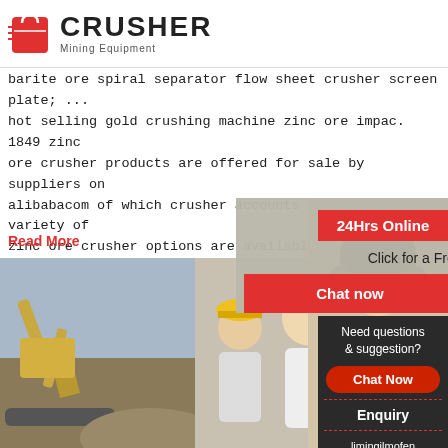[Figure (logo): Crusher Mining Equipment logo with red shopping bag icon and bold CRUSHER text]
barite ore spiral separator flow sheet crusher screen plate; ... hot selling gold crushing machine zinc ore impac. 1849 zinc ore crusher products are offered for sale by suppliers on alibabacom of which crusher accounts for 8 a wide variety of zinc ore crusher options are available to you such as automatic competitive price and high productivi
Read More
[Figure (photo): Excavator dumping dirt at a mining site]
[Figure (photo): Three workers in yellow hard hats and safety vests]
[Figure (photo): Live chat popup overlay with LIVE CHAT title, Click for a Free Consultation text, Chat now and Chat later buttons]
[Figure (photo): Customer service woman with headset on right side, 24Hrs Online badge]
[Figure (infographic): Right sidebar with Need questions & suggestion, Chat Now button, Enquiry, limingjlmofen@sina.com]
Barite Ore Spiral Separator Flow S Xsm
Barite mine processing flow chart.barite process chart barite processing flow chart.its composition hengnan barite ore by gravity separationbarite spiral